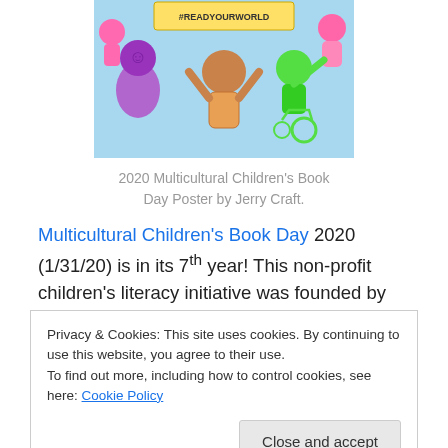[Figure (illustration): Colorful cartoon illustration of diverse children celebrating, some holding a sign reading #ReadYourWorld. Children depicted in various colors (purple, pink, green, brown). One child is in a wheelchair. Bright, cheerful art style.]
2020 Multicultural Children's Book Day Poster by Jerry Craft.
Multicultural Children's Book Day 2020 (1/31/20) is in its 7th year! This non-profit children's literacy initiative was founded by Valarie Budayr and Mia Wenjen; two diverse book-loving moms who saw a need to shine the spotlight
Privacy & Cookies: This site uses cookies. By continuing to use this website, you agree to their use.
To find out more, including how to control cookies, see here: Cookie Policy
the ongoing need to include kids' books that celebrate